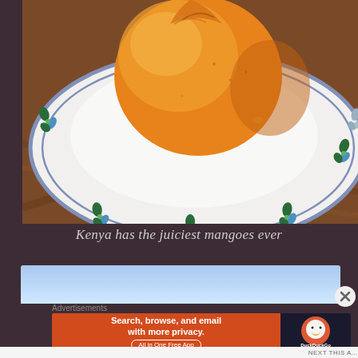[Figure (photo): A golden-orange mango sitting on a decorative white ceramic plate with blue and green floral/leaf pattern around the rim, placed on a wooden table surface.]
Kenya has the juiciest mangoes ever
[Figure (photo): Advertisement banner showing a light blue sky gradient background, partially visible at top]
Advertisements
[Figure (screenshot): DuckDuckGo advertisement: orange background with text 'Search, browse, and email with more privacy. All in One Free App' and DuckDuckGo logo on dark right panel]
NEXT THIS A...